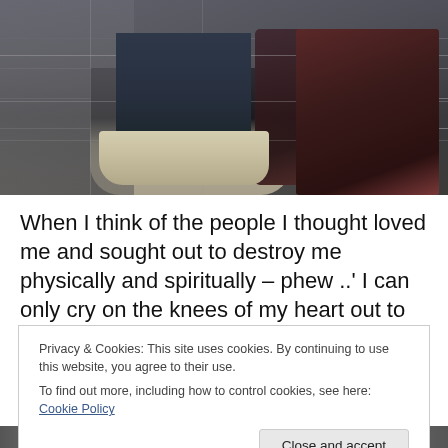[Figure (photo): Photo showing lower legs and feet of a person walking on a tiled pavement, wearing light-colored slip-on shoes and dark jeans. A dark reddish-brown rolling suitcase is visible on the right side.]
When I think of the people I thought loved me and sought out to destroy me physically and spiritually – phew ..' I can only cry on the knees of my heart out to God for thanking
Privacy & Cookies: This site uses cookies. By continuing to use this website, you agree to their use.
To find out more, including how to control cookies, see here: Cookie Policy
[Figure (photo): Partial photo visible at the very bottom of the page, showing an outdoor scene.]